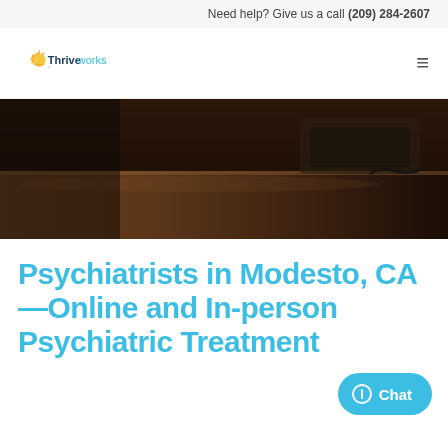Need help? Give us a call (209) 284-2607
[Figure (logo): Thriveworks logo with sunburst icon and text 'Thriveworks']
[Figure (photo): Dark moody photo of a desk surface, close-up, dimly lit brown wooden desk]
Psychiatrists in Modesto, CA—Online and In-person Psychiatric Treatment